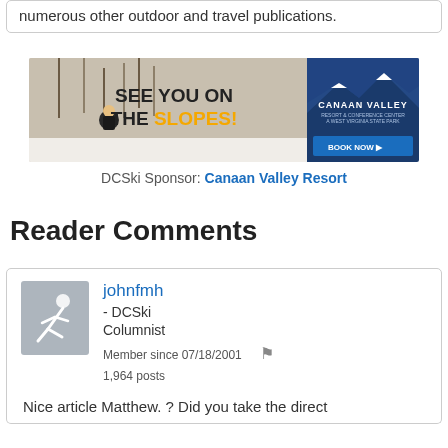numerous other outdoor and travel publications.
[Figure (photo): Canaan Valley Resort advertisement banner: skier on snowy slope on left side, dark blue panel on right with 'SEE YOU ON THE SLOPES!' text and 'BOOK NOW' button, Canaan Valley Resort & Conference Center logo at top right.]
DCSki Sponsor: Canaan Valley Resort
Reader Comments
johnfmh
- DCSki Columnist
Member since 07/18/2001
1,964 posts
April 4, 2019
Nice article Matthew. ? Did you take the direct